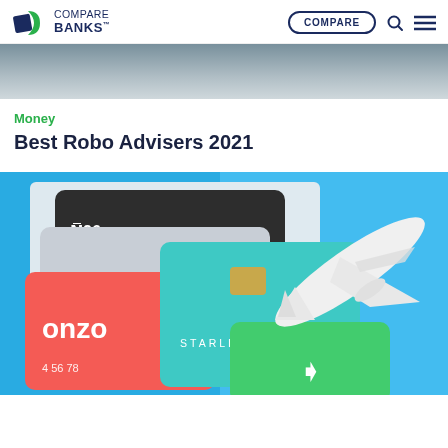COMPARE BANKS™ | COMPARE
[Figure (photo): Partial view of a photo showing a laptop or device, cropped at the top of the page]
Money
Best Robo Advisers 2021
[Figure (photo): Photo showing multiple bank cards including Monzo (red), Starling Bank (teal/green), N26, and a Revolut card, alongside a white toy airplane on a blue background]